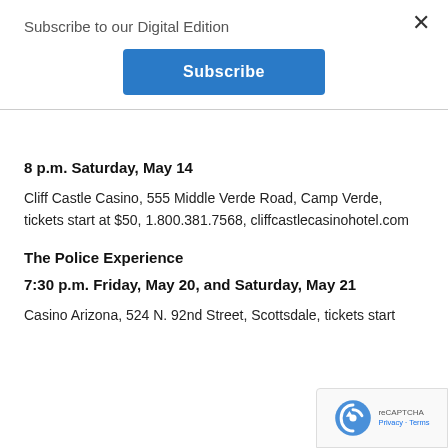Subscribe to our Digital Edition
[Figure (other): Blue Subscribe button]
8 p.m. Saturday, May 14
Cliff Castle Casino, 555 Middle Verde Road, Camp Verde, tickets start at $50, 1.800.381.7568, cliffcastlecasinohotel.com
The Police Experience
7:30 p.m. Friday, May 20, and Saturday, May 21
Casino Arizona, 524 N. 92nd Street, Scottsdale, tickets start at...